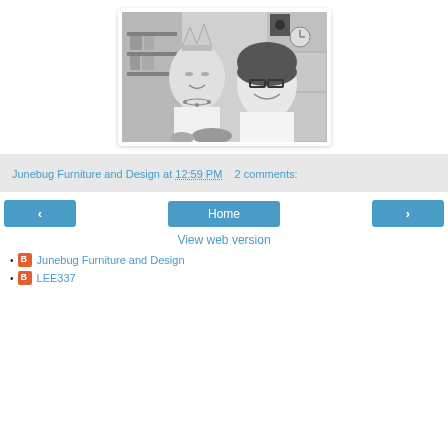[Figure (photo): Black and white photo of two women smiling, one wearing a paper crown hat, in what appears to be a kitchen or store setting with shelves in the background.]
Junebug Furniture and Design at 12:59 PM    2 comments:
< Home > View web version
Junebug Furniture and Design
LEE337